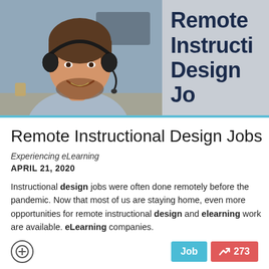[Figure (photo): Man wearing a headset/headphones, smiling, in a home office setting. Next to the photo is a grey panel with bold dark blue text reading 'Remote Instructional Design Jobs' (partially visible).]
Remote Instructional Design Jobs
Experiencing eLearning
APRIL 21, 2020
Instructional design jobs were often done remotely before the pandemic. Now that most of us are staying home, even more opportunities for remote instructional design and elearning work are available. eLearning companies.